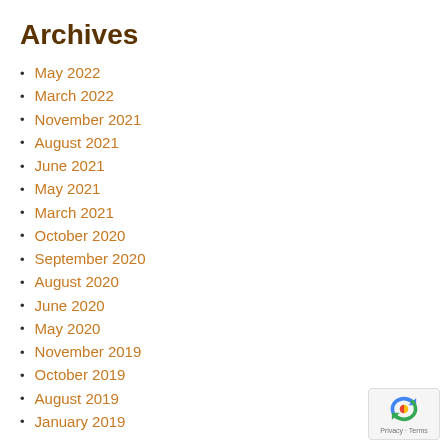Archives
May 2022
March 2022
November 2021
August 2021
June 2021
May 2021
March 2021
October 2020
September 2020
August 2020
June 2020
May 2020
November 2019
October 2019
August 2019
January 2019
[Figure (logo): Google reCAPTCHA badge with Privacy and Terms text]